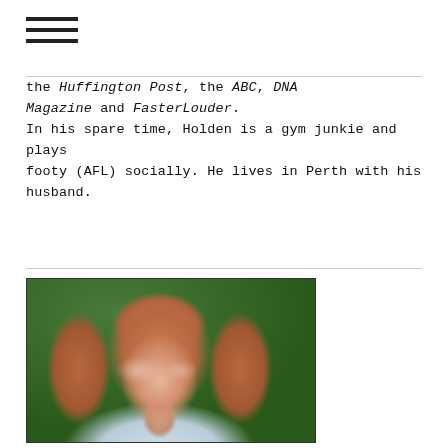≡
the Huffington Post, the ABC, DNA Magazine and FasterLouder.
In his spare time, Holden is a gym junkie and plays footy (AFL) socially. He lives in Perth with his husband.
[Figure (photo): Portrait photograph of a woman with curly strawberry-blonde hair, smiling, wearing a light blue jacket, photographed against a green foliage background.]